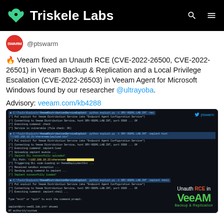Triskele Labs
@ptswarm
🔥 Veeam fixed an Unauth RCE (CVE-2022-26500, CVE-2022-26501) in Veeam Backup & Replication and a Local Privilege Escalation (CVE-2022-26503) in Veeam Agent for Microsoft Windows found by our researcher @ultrayoba.
Advisory: veeam.com/kb4288
[Figure (screenshot): Terminal/command prompt screenshot showing exploit code execution for Veeam Distribution Service (VeeamDistributionServiceExploit), demonstrating Unauth RCE. Shows multiple command blocks with Python exploit scripts connecting to SRV-VEEA1.LAB.INT port 9380, loading implants, and executing shell commands. Bottom right shows 'Unauth RCE in VEEAM Backup & Replication' branding overlay.]